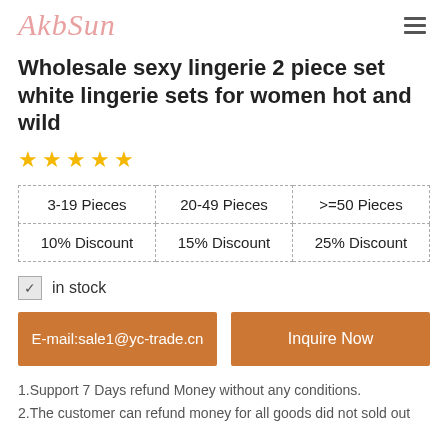AkbSun
Wholesale sexy lingerie 2 piece set white lingerie sets for women hot and wild
[Figure (other): 5 gold star rating]
| 3-19 Pieces | 20-49 Pieces | >=50 Pieces |
| --- | --- | --- |
| 10% Discount | 15% Discount | 25% Discount |
in stock
E-mail:sale1@yc-trade.cn
Inquire Now
1.Support 7 Days refund Money without any conditions.
2.The customer can refund money for all goods did not sold out